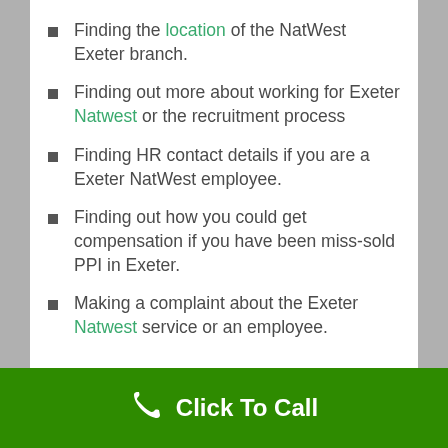Finding the location of the NatWest Exeter branch.
Finding out more about working for Exeter Natwest or the recruitment process
Finding HR contact details if you are a Exeter NatWest employee.
Finding out how you could get compensation if you have been miss-sold PPI in Exeter.
Making a complaint about the Exeter Natwest service or an employee.
Click To Call